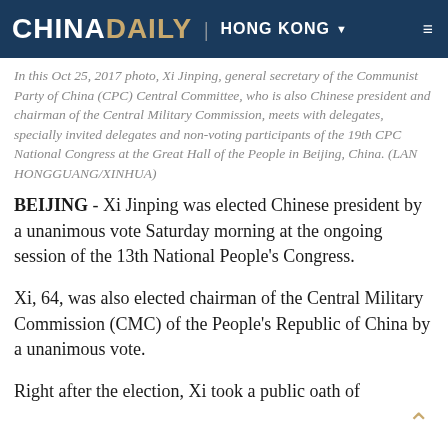CHINA DAILY | HONG KONG
In this Oct 25, 2017 photo, Xi Jinping, general secretary of the Communist Party of China (CPC) Central Committee, who is also Chinese president and chairman of the Central Military Commission, meets with delegates, specially invited delegates and non-voting participants of the 19th CPC National Congress at the Great Hall of the People in Beijing, China. (LAN HONGGUANG/XINHUA)
BEIJING - Xi Jinping was elected Chinese president by a unanimous vote Saturday morning at the ongoing session of the 13th National People's Congress.
Xi, 64, was also elected chairman of the Central Military Commission (CMC) of the People's Republic of China by a unanimous vote.
Right after the election, Xi took a public oath of